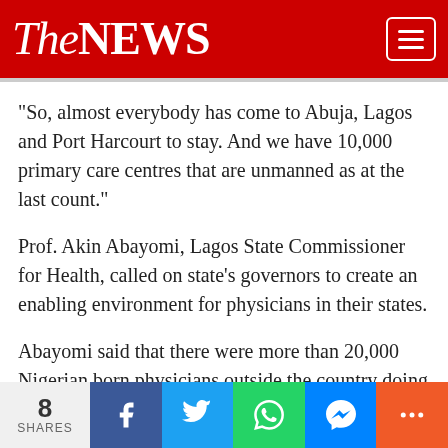The NEWS
“So, almost everybody has come to Abuja, Lagos and Port Harcourt to stay. And we have 10,000 primary care centres that are unmanned as at the last count.”
Prof. Akin Abayomi, Lagos State Commissioner for Health, called on state’s governors to create an enabling environment for physicians in their states.
Abayomi said that there were more than 20,000 Nigerian born physicians outside the country doing extremely well.
“This is why our governors should create an enabling environment for our physicians. By now, Nigeria should not be talking about brain drain
8 SHARES | Facebook | Twitter | WhatsApp | Messenger | More